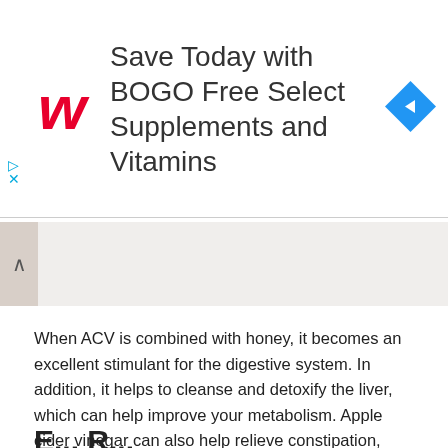[Figure (other): Walgreens advertisement banner: red W logo on left, text 'Save Today with BOGO Free Select Supplements and Vitamins' in center, blue navigation diamond icon on right. Small ad close arrows on left side.]
[Figure (photo): Partial photo showing a person lying down on white bedding, with a tan/beige cushion on the right side. A caret/up-arrow icon overlays the left edge.]
When ACV is combined with honey, it becomes an excellent stimulant for the digestive system. In addition, it helps to cleanse and detoxify the liver, which can help improve your metabolism. Apple cider vinegar can also help relieve constipation, heartburn, acid reflux, and diarrhea by making you feel more full after eating, increasing stomach acid that helps break down food, and soothing your intestinal lining! Try taking one tablespoon of apple cider vinegar in a glass of water 20 minutes before each meal. Over time this will increase healthy gut bacteria for more effective digestion.
E... R...